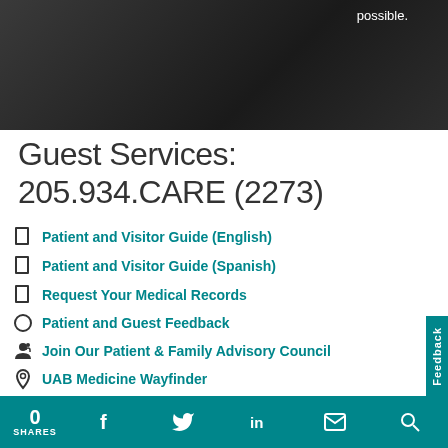[Figure (photo): Photo of medical staff in scrubs, partially visible, dark background with text 'possible.' overlaid in white]
Guest Services: 205.934.CARE (2273)
Patient and Visitor Guide (English)
Patient and Visitor Guide (Spanish)
Request Your Medical Records
Patient and Guest Feedback
Join Our Patient & Family Advisory Council
UAB Medicine Wayfinder
0 SHARES  [Facebook] [Twitter] [LinkedIn] [Email] [Search]  Feedback